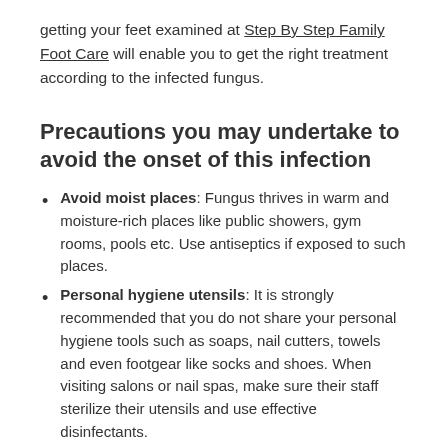getting your feet examined at Step By Step Family Foot Care will enable you to get the right treatment according to the infected fungus.
Precautions you may undertake to avoid the onset of this infection
Avoid moist places: Fungus thrives in warm and moisture-rich places like public showers, gym rooms, pools etc. Use antiseptics if exposed to such places.
Personal hygiene utensils: It is strongly recommended that you do not share your personal hygiene tools such as soaps, nail cutters, towels and even footgear like socks and shoes. When visiting salons or nail spas, make sure their staff sterilize their utensils and use effective disinfectants.
Closed shoes: If your feet are infected, the fungus can